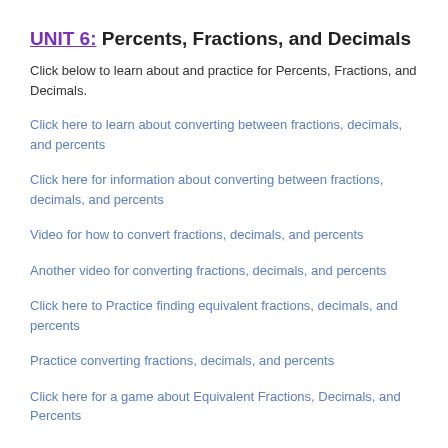UNIT 6: Percents, Fractions, and Decimals
Click below to learn about and practice for Percents, Fractions, and Decimals.
Click here to learn about converting between fractions, decimals, and percents
Click here for information about converting between fractions, decimals, and percents
Video for how to convert fractions, decimals, and percents
Another video for converting fractions, decimals, and percents
Click here to Practice finding equivalent fractions, decimals, and percents
Practice converting fractions, decimals, and percents
Click here for a game about Equivalent Fractions, Decimals, and Percents